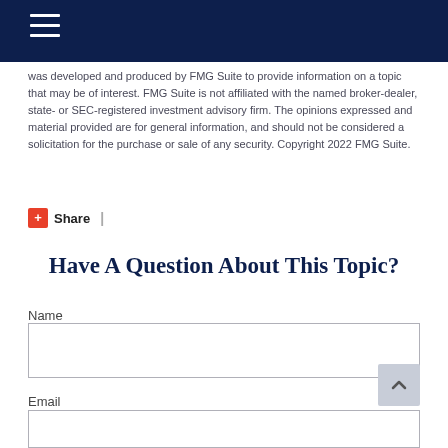Navigation header with hamburger menu
was developed and produced by FMG Suite to provide information on a topic that may be of interest. FMG Suite is not affiliated with the named broker-dealer, state- or SEC-registered investment advisory firm. The opinions expressed and material provided are for general information, and should not be considered a solicitation for the purchase or sale of any security. Copyright 2022 FMG Suite.
+ Share |
Have A Question About This Topic?
Name
Email